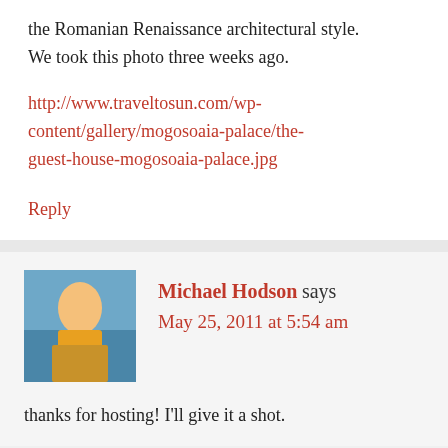the Romanian Renaissance architectural style.
We took this photo three weeks ago.
http://www.traveltosun.com/wp-content/gallery/mogosoaia-palace/the-guest-house-mogosoaia-palace.jpg
Reply
Michael Hodson says
May 25, 2011 at 5:54 am
thanks for hosting! I'll give it a shot.